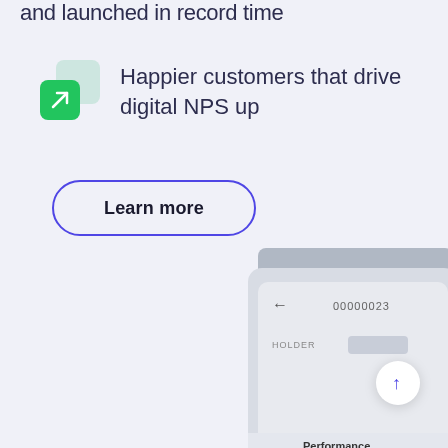and launched in record time
Happier customers that drive digital NPS up
[Figure (illustration): Green square icon with upward-right arrow, with a lighter green background square offset behind it]
Learn more
[Figure (screenshot): Mobile app UI screenshot showing a grey card/folder interface with back arrow, number 00000023, HOLDER label, and a purple upward arrow button. Below shows a Performance label.]